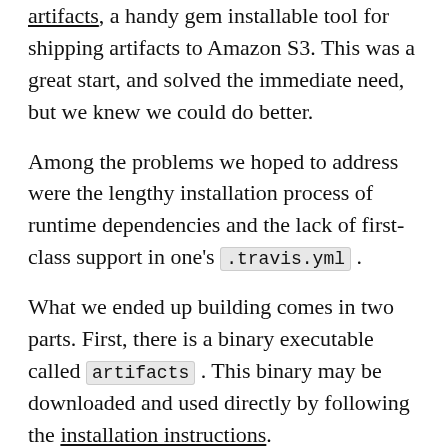artifacts, a handy gem installable tool for shipping artifacts to Amazon S3. This was a great start, and solved the immediate need, but we knew we could do better.
Among the problems we hoped to address were the lengthy installation process of runtime dependencies and the lack of first-class support in one's .travis.yml .
What we ended up building comes in two parts. First, there is a binary executable called artifacts . This binary may be downloaded and used directly by following the installation instructions.
In addition to this binary, an artifacts addon was tacked onto travis-build so that you can use it via your .travis.yml . More details are available in the docs, for